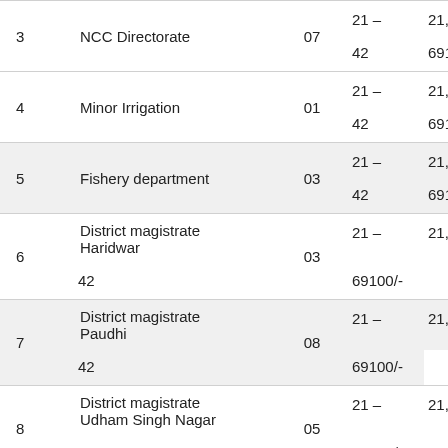| # | Department | Posts | Age | Pay |
| --- | --- | --- | --- | --- |
| 3 | NCC Directorate | 07 | 21 – 42 | 21,700 – 69100/- |
| 4 | Minor Irrigation | 01 | 21 – 42 | 21,700 – 69100/- |
| 5 | Fishery department | 03 | 21 – 42 | 21,700 – 69100/- |
| 6 | District magistrate Haridwar | 03 | 21 – 42 | 21,700 – 69100/- |
| 7 | District magistrate Paudhi | 08 | 21 – 42 | 21,700 – 69100/- |
| 8 | District magistrate Udham Singh Nagar | 05 | 21 – 42 | 21,700 – 69100/- |
| 9 | [ad banner] |  | 21,700 – | 0/- |